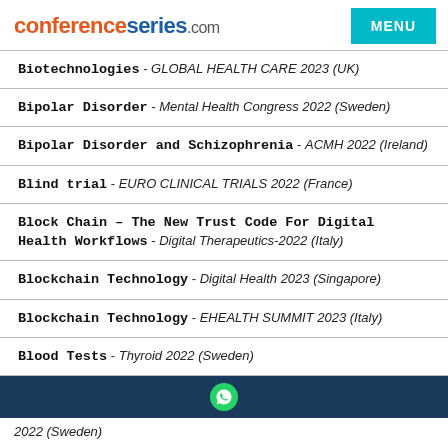conferenceseries.com MENU
Biotechnologies - GLOBAL HEALTH CARE 2023 (UK)
Bipolar Disorder - Mental Health Congress 2022 (Sweden)
Bipolar Disorder and Schizophrenia - ACMH 2022 (Ireland)
Blind trial - EURO CLINICAL TRIALS 2022 (France)
Block Chain – The New Trust Code For Digital Health Workflows - Digital Therapeutics-2022 (Italy)
Blockchain Technology - Digital Health 2023 (Singapore)
Blockchain Technology - EHEALTH SUMMIT 2023 (Italy)
Blood Tests - Thyroid 2022 (Sweden)
2022 (Sweden)